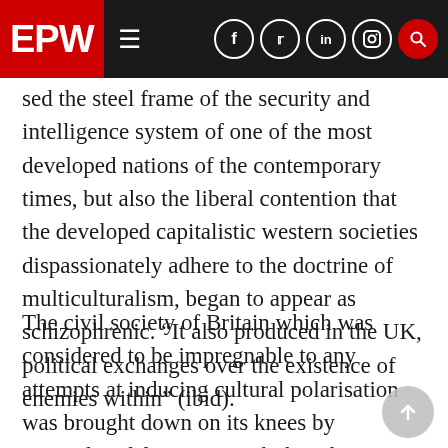EPW
sed the steel frame of the security and intelligence system of one of the most developed nations of the contemporary times, but also the liberal contention that the developed capitalistic western societies dispassionately adhere to the doctrine of multiculturalism, began to appear as schizophrenic. “It also produced in the UK, political exchanges over the existence of enemies within” (ibid).
The civil society of Britain which was considered to be impregnable to any attempts at inducing cultural polarisation was brought down on its knees by intercultural frictions. With this, the euphoria of the triumph of western liberalism, as passionately drum-beaten as end of history by